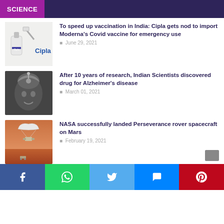SCIENCE
[Figure (photo): Cipla vaccine vial with syringe being prepared]
To speed up vaccination in India: Cipla gets nod to import Moderna's Covid vaccine for emergency use
June 29, 2021
[Figure (photo): Black and white photo of elderly person with medical device]
After 10 years of research, Indian Scientists discovered drug for Alzheimer's disease
March 01, 2021
[Figure (photo): Mars landscape with Perseverance rover descending with parachute]
NASA successfully landed Perseverance rover spacecraft on Mars
February 19, 2021
ADVERTISEMENT
Facebook | WhatsApp | Twitter | Messenger | Pinterest